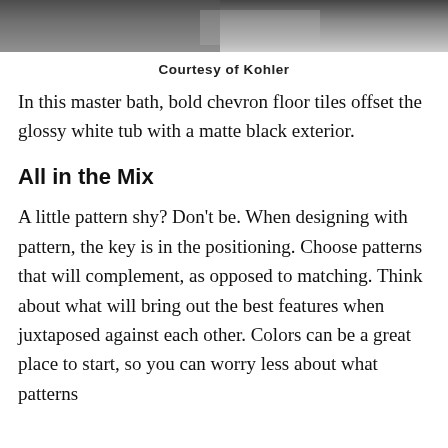[Figure (photo): Grayscale photo strip showing a master bath interior, partially visible at top of page]
Courtesy of Kohler
In this master bath, bold chevron floor tiles offset the glossy white tub with a matte black exterior.
All in the Mix
A little pattern shy? Don't be. When designing with pattern, the key is in the positioning. Choose patterns that will complement, as opposed to matching. Think about what will bring out the best features when juxtaposed against each other. Colors can be a great place to start, so you can worry less about what patterns